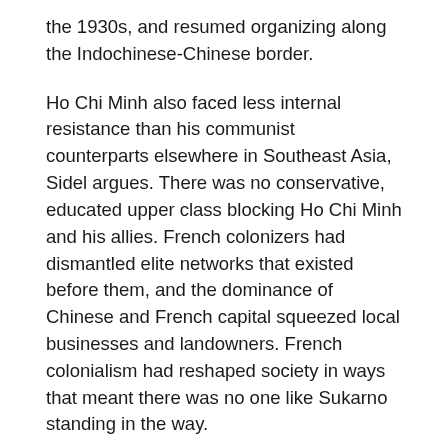the 1930s, and resumed organizing along the Indochinese-Chinese border.
Ho Chi Minh also faced less internal resistance than his communist counterparts elsewhere in Southeast Asia, Sidel argues. There was no conservative, educated upper class blocking Ho Chi Minh and his allies. French colonizers had dismantled elite networks that existed before them, and the dominance of Chinese and French capital squeezed local businesses and landowners. French colonialism had reshaped society in ways that meant there was no one like Sukarno standing in the way.
Hovering behind the renewed scholarly interest in revolutions is a desire to unravel teleological national narratives and tie history's loose ends together in new ways at a time when the failures of modern nation-states to uphold the rights of their citizens and solve problems requiring collective action, from climate change to inequality, are starker than ever before. Could a different politics have